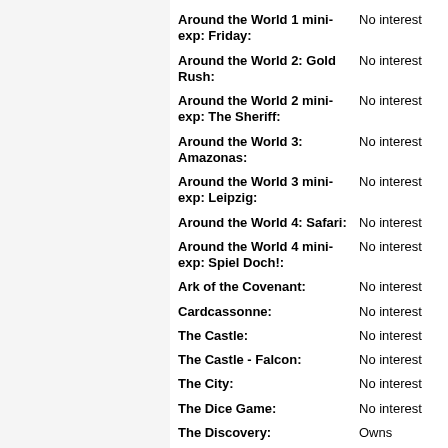Around the World 1 mini-exp: Friday: | No interest
Around the World 2: Gold Rush: | No interest
Around the World 2 mini-exp: The Sheriff: | No interest
Around the World 3: Amazonas: | No interest
Around the World 3 mini-exp: Leipzig: | No interest
Around the World 4: Safari: | No interest
Around the World 4 mini-exp: Spiel Doch!: | No interest
Ark of the Covenant: | No interest
Cardcassonne: | No interest
The Castle: | No interest
The Castle - Falcon: | No interest
The City: | No interest
The Dice Game: | No interest
The Discovery: | Owns
Hunters & Gatherers: | No interest
Hunters & Gatherers (2nd Edition): | No interest
Mayflower / New World: | No interest